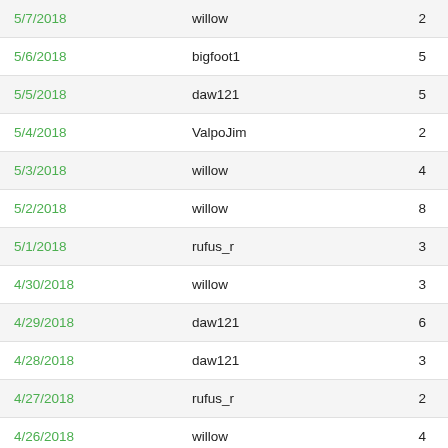| 5/7/2018 | willow | 2 |
| 5/6/2018 | bigfoot1 | 5 |
| 5/5/2018 | daw121 | 5 |
| 5/4/2018 | ValpoJim | 2 |
| 5/3/2018 | willow | 4 |
| 5/2/2018 | willow | 8 |
| 5/1/2018 | rufus_r | 3 |
| 4/30/2018 | willow | 3 |
| 4/29/2018 | daw121 | 6 |
| 4/28/2018 | daw121 | 3 |
| 4/27/2018 | rufus_r | 2 |
| 4/26/2018 | willow | 4 |
| 4/25/2018 | willow | 3 |